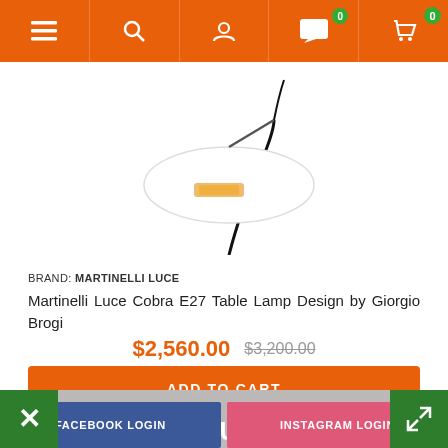Navigation bar with menu, search, account, chat (0), and cart (0) icons
[Figure (photo): Martinelli Luce Cobra E27 Table Lamp - a white spoon-shaped lamp on a curved black base, partial product photo]
BRAND: MARTINELLI LUCE
Martinelli Luce Cobra E27 Table Lamp Design by Giorgio Brogi
$2,560.00  $3,200.00
ADD TO CART
Coming from supplier, shipping in 7-21 days
DISCOVER YOUR PERSONAL DISCOUNT
FACEBOOK LOGIN
INSTAGRAM LOGIN